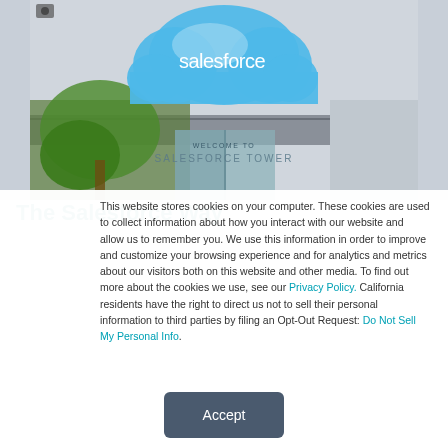[Figure (photo): Exterior photo of Salesforce Tower entrance with large Salesforce cloud logo in blue above the entrance. Glass doors visible with 'WELCOME TO SALESFORCE TOWER' text. Green tree mural visible on left side.]
The Salesforce Way
This website stores cookies on your computer. These cookies are used to collect information about how you interact with our website and allow us to remember you. We use this information in order to improve and customize your browsing experience and for analytics and metrics about our visitors both on this website and other media. To find out more about the cookies we use, see our Privacy Policy. California residents have the right to direct us not to sell their personal information to third parties by filing an Opt-Out Request: Do Not Sell My Personal Info.